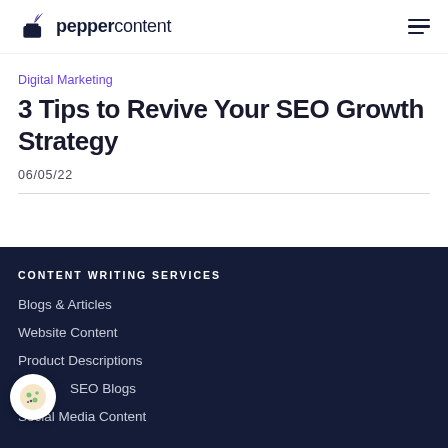peppercontent
Digital Marketing
3 Tips to Revive Your SEO Growth Strategy
06/05/22
CONTENT WRITING SERVICES
Blogs & Articles
Website Content
Product Descriptions
SEO Blogs
Social Media Content